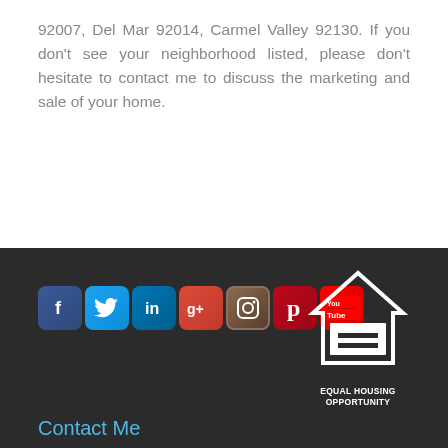92007, Del Mar 92014, Carmel Valley 92130. If you don't see your neighborhood listed, please don't hesitate to contact me to discuss the marketing and sale of your home.
[Figure (infographic): Social media icons row: Facebook, Twitter, LinkedIn, Google+, Instagram, Pinterest, YouTube]
[Figure (logo): Equal Housing Opportunity logo - house outline with equal sign, text reads EQUAL HOUSING OPPORTUNITY]
Contact Me